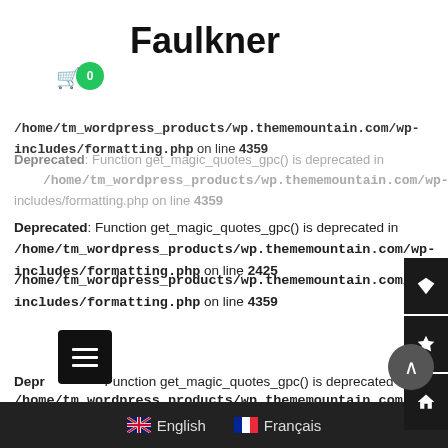Faulkner
Deprecated: Function get_magic_quotes_gpc() is deprecated in /home/tm_wordpress_products/wp.thememountain.com/wp-includes/formatting.php on line 4359
Deprecated: Function get_magic_quotes_gpc() is deprecated in /home/tm_wordpress_products/wp.thememountain.com/wp-includes/formatting.php on line 2425
Deprecated: Function get_magic_quotes_gpc() is deprecated in /home/tm_wordpress_products/wp.thememountain.com/wp-includes/formatting.php on line 4359
Deprecated: Function get_magic_quotes_gpc() is deprecated in /home/tm_wordpress_products/wp.thememountain.com/wp-includes/formatting.php on line 4359
Deprecated: Function get_magic_quotes_gpc() is deprecated in /home/tm_wordpress_products/wp.thememountain.com/wp-
English   Français